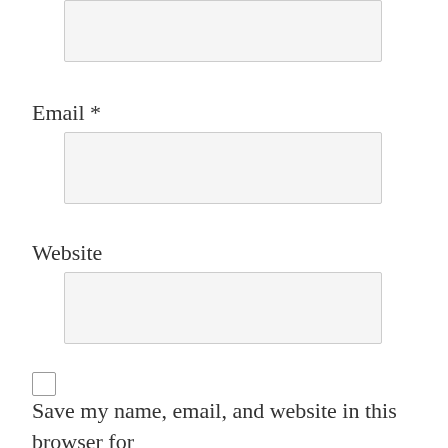[Figure (screenshot): A text input field (partially visible at top), representing a comment form field]
Email *
[Figure (screenshot): Email input field box]
Website
[Figure (screenshot): Website input field box]
Save my name, email, and website in this browser for the next time I comment.